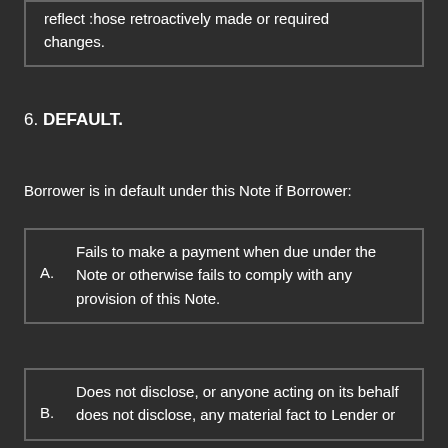reflect :hose retroactively made or required changes.
6. DEFAULT.
Borrower is in default under this Note if Borrower:
A. Fails to make a payment when due under the Note or otherwise fails to comply with any provision of this Note.
B. Does not disclose, or anyone acting on its behalf does not disclose, any material fact to Lender or